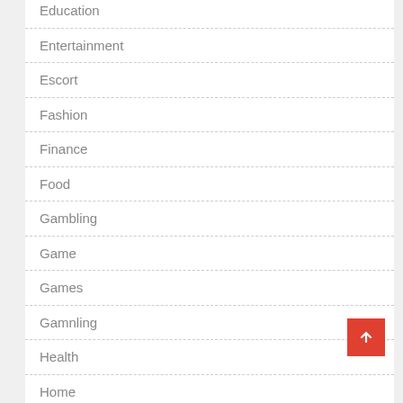Education
Entertainment
Escort
Fashion
Finance
Food
Gambling
Game
Games
Gamnling
Health
Home
Lottery